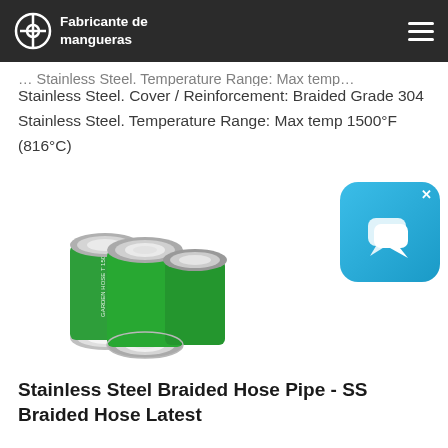Fabricante de mangueras
Stainless Steel. Cover / Reinforcement: Braided Grade 304 Stainless Steel. Temperature Range: Max temp 1500°F (816°C)
[Figure (photo): Three green braided hose pipes shown end-on, with silver braided steel ends visible]
[Figure (other): Blue chat widget icon with speech bubbles]
Stainless Steel Braided Hose Pipe - SS Braided Hose Latest
Call +91-8048711128. Contact Supplier Request a quote. Stainless Steel Braided Hose Pipe, 2000 Psi...